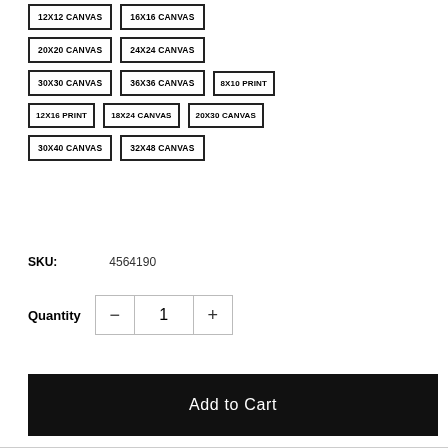12X12 CANVAS
16X16 CANVAS
20X20 CANVAS
24X24 CANVAS
30X30 CANVAS
36X36 CANVAS
8X10 PRINT
12X16 PRINT
18X24 CANVAS
20X30 CANVAS
30X40 CANVAS
32X48 CANVAS
SKU: 4564190
Quantity 1
Add to Cart